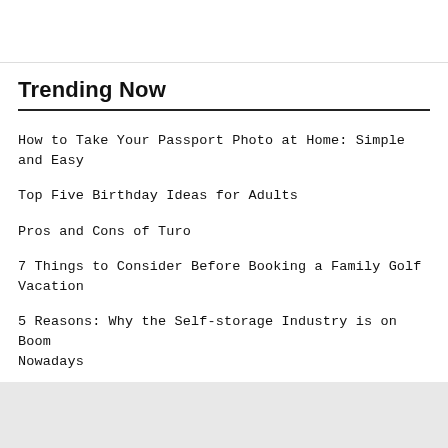Trending Now
How to Take Your Passport Photo at Home: Simple and Easy
Top Five Birthday Ideas for Adults
Pros and Cons of Turo
7 Things to Consider Before Booking a Family Golf Vacation
5 Reasons: Why the Self-storage Industry is on Boom Nowadays